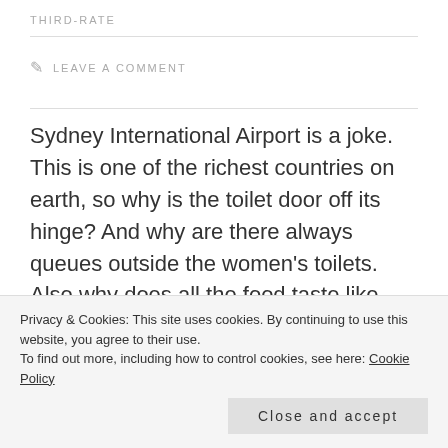THIRD-RATE
LEAVE A COMMENT
Sydney International Airport is a joke. This is one of the richest countries on earth, so why is the toilet door off its hinge? And why are there always queues outside the women’s toilets. Also why does all the food taste like photocopy paper and why does the immigration area feel like you are trapped in an iron blouse? It’s airless, there’s a smell of yesterday’s donut mixed with armpit and the constant threat of
Privacy & Cookies: This site uses cookies. By continuing to use this website, you agree to their use.
To find out more, including how to control cookies, see here: Cookie Policy
Close and accept
it’s fairly efficient not to clean the toilets properly and